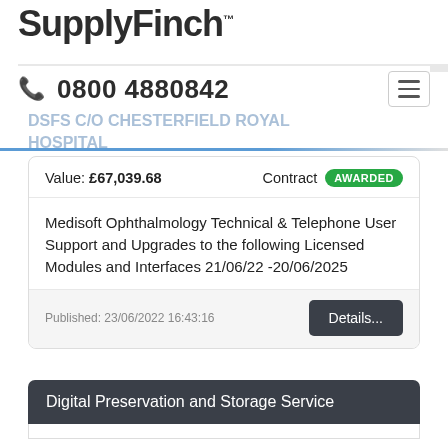SupplyFinch™
Medisoft Ophthalmology Technical & T...
☎ 0800 4880842
DSFS C/O CHESTERFIELD ROYAL HOSPITAL
Value: £67,039.68   Contract AWARDED
Medisoft Ophthalmology Technical & Telephone User Support and Upgrades to the following Licensed Modules and Interfaces 21/06/22 -20/06/2025
Published: 23/06/2022 16:43:16
Digital Preservation and Storage Service